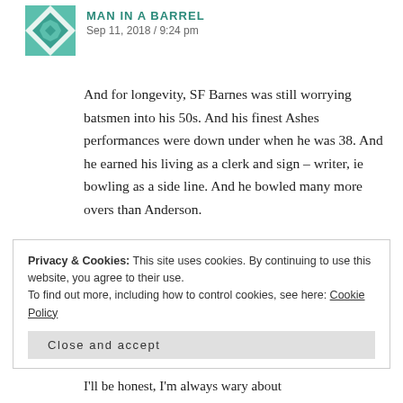[Figure (illustration): Teal/green quilt-pattern avatar icon for user Man in a Barrel]
MAN IN A BARREL
Sep 11, 2018 / 9:24 pm
And for longevity, SF Barnes was still worrying batsmen into his 50s. And his finest Ashes performances were down under when he was 38. And he earned his living as a clerk and sign – writer, ie bowling as a side line. And he bowled many more overs than Anderson.
★ Like
Privacy & Cookies: This site uses cookies. By continuing to use this website, you agree to their use.
To find out more, including how to control cookies, see here: Cookie Policy
Close and accept
I'll be honest, I'm always wary about